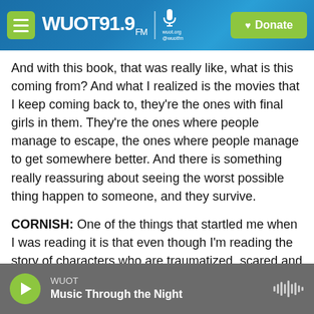WUOT 91.9 FM | wuot.org @wuotfm | Donate
And with this book, that was really like, what is this coming from? And what I realized is the movies that I keep coming back to, they're the ones with final girls in them. They're the ones where people manage to escape, the ones where people manage to get somewhere better. And there is something really reassuring about seeing the worst possible thing happen to someone, and they survive.
CORNISH: One of the things that startled me when I was reading it is that even though I'm reading the story of characters who are traumatized, scared and clearly have PTSD, right?, have taken all kinds
WUOT | Music Through the Night